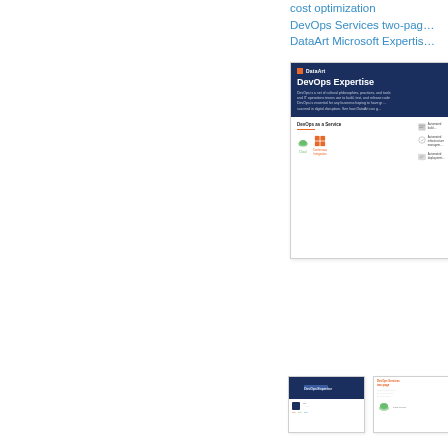cost optimization
DevOps Services two-page
DataArt Microsoft Expertis…
[Figure (screenshot): DataArt DevOps Expertise brochure preview card with dark navy header showing 'DevOps Expertise' title, descriptive text, 'DevOps as a Service' section with icons for Cloud, Continuous Integration, and automated deployment items on right side.]
[Figure (screenshot): Small thumbnail of DataArt DevOps brochure page 1 with dark navy header graphic]
[Figure (screenshot): Small thumbnail of DevOps brochure page 2 with orange heading text and content]